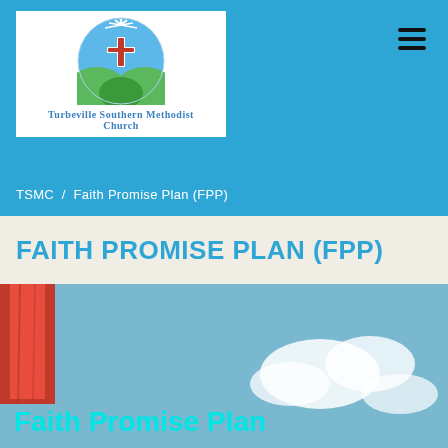[Figure (logo): Turbeville Southern Methodist Church logo with circular blue/white/green design and cross, on white background]
TSMC / Faith Promise Plan (FPP)
FAITH PROMISE PLAN (FPP)
[Figure (photo): Photo showing a red cloth/banner on the left and a sky with clouds on the right, with text overlay reading 'Faith Promise Plan']